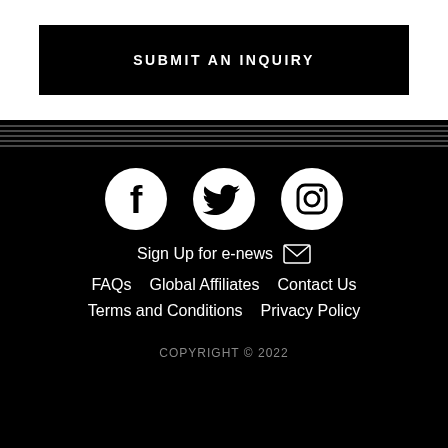SUBMIT AN INQUIRY
[Figure (illustration): Horizontal decorative lines divider on black background]
[Figure (illustration): Social media icons: Facebook, Twitter, Instagram (white circles with black icons on black background)]
Sign Up for e-news
FAQs   Global Affiliates   Contact Us
Terms and Conditions   Privacy Policy
COPYRIGHT © 2022